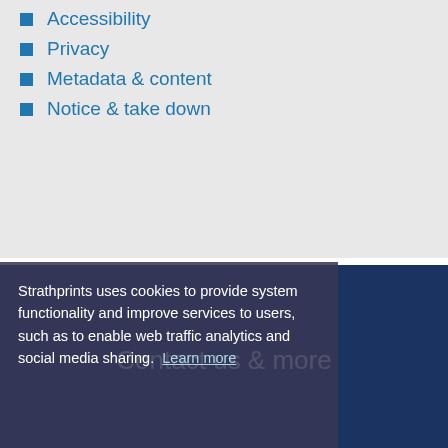Accessibility
Privacy
Metadata & content
Notice & take down
Contact us & more
Open Access enquiries
Strathprints enquiries
Twitter & Follow us
STAX – explore open theses!
Strathprints uses cookies to provide system functionality and improve services to users, such as to enable web traffic analytics and social media sharing.  Learn more
Got it!